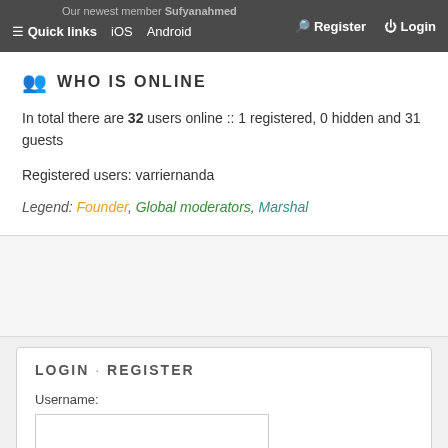≡ Quick links  iOS  Android  Our newest member Sufyanahmed  🔍 Register  ⏻ Login
WHO IS ONLINE
In total there are 32 users online :: 1 registered, 0 hidden and 31 guests
Registered users: varriernanda
Legend: Founder, Global moderators, Marshal
LOGIN · REGISTER
Username: